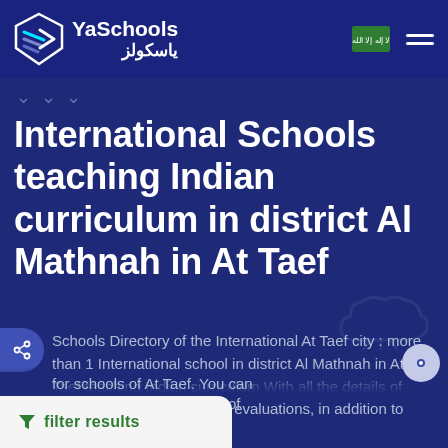[Figure (logo): YaSchools logo with stylized arrow/chevron icon in white, cyan, and blue gradient, with English text 'YaSchools' and Arabic text 'ياسكولز']
[Figure (illustration): Saudi Arabia flag button (green) in header navigation]
International Schools teaching Indian curriculum in district Al Mathnah in At Taef
Schools Directory of the International At Taef city : more than 1 International school in district Al Mathnah in At Taef teaching Indian curriculum With all the details of these schools and parents' evaluations, in addition to various pictures of schools of At Taef. You can directly with any school in city of